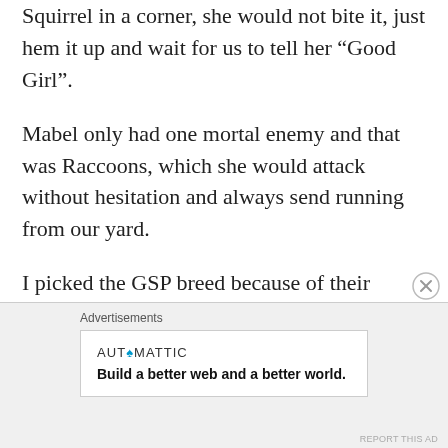Squirrel in a corner, she would not bite it, just hem it up and wait for us to tell her “Good Girl”.
Mabel only had one mortal enemy and that was Raccoons, which she would attack without hesitation and always send running from our yard.
I picked the GSP breed because of their unique markings, fine reputation, and most importantly, their long life span (13-17 years). So when she was sick with ehrlichia on her 8th birthday – I figured she would get over it.
Advertisements
AUT◊MATTIC
Build a better web and a better world.